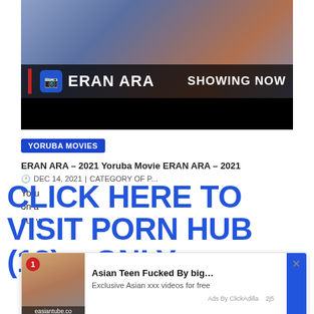[Figure (screenshot): Hero image of a man in patterned blue traditional wear with 'ERAN ARA' title text and 'SHOWING NOW' caption overlay on dark background, with camera icon badge]
YORUBA MOVIES
CLICK HERE TO VISIT PORN HUB (18) + ONLY
ERAN ARA – 2021 Yoruba Movie ERAN ARA – 2021
DEC 14, 2021 | CATEGORY OF P...
Yoru... on a... out w...
[Figure (screenshot): Pop-up advertisement overlay: Asian Teen Fucked By big... - Exclusive Asian xxx videos for free - Ads By ClickAdilla. Contains thumbnail image and close button.]